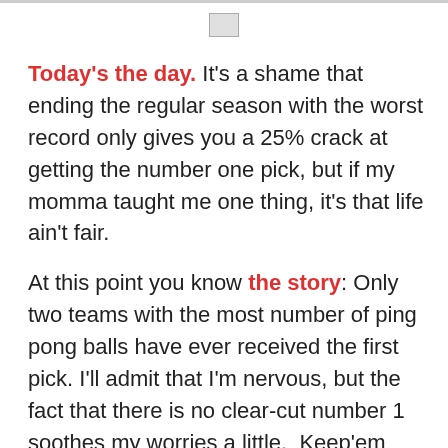[Figure (logo): Small broken image placeholder icon centered at top of page]
Today's the day.  It's a shame that ending the regular season with the worst record only gives you a 25% crack at getting the number one pick, but if my momma taught me one thing, it's that life ain't fair.
At this point you know the story: Only two teams with the most number of ping pong balls have ever received the first pick.  I'll admit that I'm nervous, but the fact that there is no clear-cut number 1 soothes my worries a little.  Keep'em crossed today.  It goes down at 4:30 Westside time.
Besides the draft, the Blazers are also starting the daunting task of bringing in rookies for work-outs.  Today